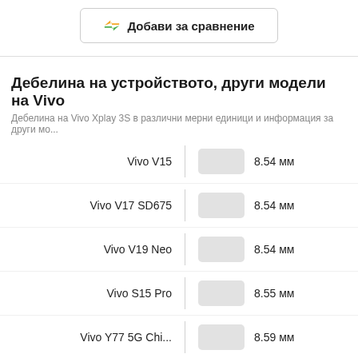[Figure (other): Button: Добави за сравнение (Add for comparison) with arrow icons]
Дебелина на устройството, други модели на Vivo
Дебелина на Vivo Xplay 3S в различни мерни единици и информация за други мо...
| Device | Bar | Value |
| --- | --- | --- |
| Vivo V15 |  | 8.54 мм |
| Vivo V17 SD675 |  | 8.54 мм |
| Vivo V19 Neo |  | 8.54 мм |
| Vivo S15 Pro |  | 8.55 мм |
| Vivo Y77 5G Chi... |  | 8.59 мм |